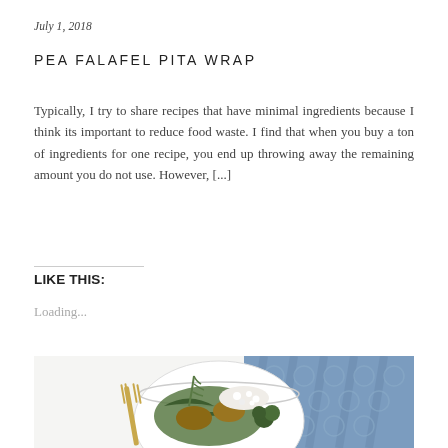July 1, 2018
PEA FALAFEL PITA WRAP
Typically, I try to share recipes that have minimal ingredients because I think its important to reduce food waste. I find that when you buy a ton of ingredients for one recipe, you end up throwing away the remaining amount you do not use. However, [...]
LIKE THIS:
Loading...
[Figure (photo): A white bowl containing falafel, greens (arugula/herbs), broccoli, and white crumbled cheese (feta), with a gold fork, placed on a blue patterned cloth napkin on a white surface.]